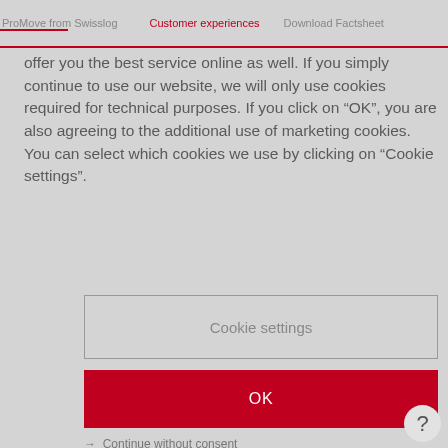ProMove from Swisslog   Customer experiences   Download Factsheet
offer you the best service online as well. If you simply continue to use our website, we will only use cookies required for technical purposes. If you click on “OK”, you are also agreeing to the additional use of marketing cookies. You can select which cookies we use by clicking on “Cookie settings”.
Cookie settings
OK
→  Continue without consent